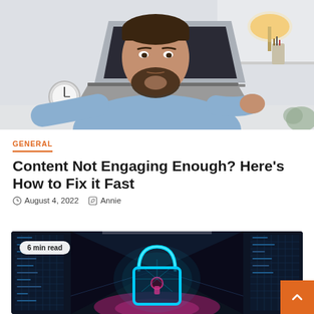[Figure (photo): Man with beard wearing light blue shirt, sitting at a desk looking at a laptop with a bored/tired expression, resting his chin on his hand. Office/home background with a lamp, white shelving, and plant.]
GENERAL
Content Not Engaging Enough? Here's How to Fix it Fast
August 4, 2022   Annie
[Figure (photo): A glowing cyan/blue padlock icon centered in a dark tunnel-like corridor with rows of servers/data walls on either side. Pink/magenta glow at the base. Cybersecurity themed image. Badge overlay: '6 min read'.]